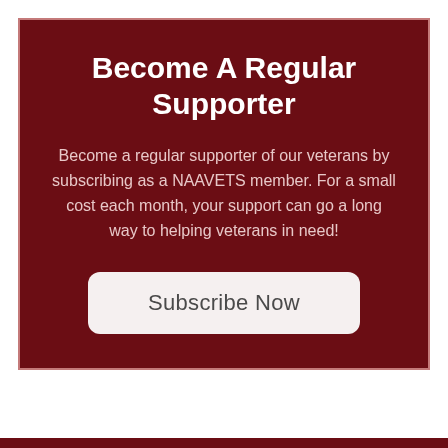Become A Regular Supporter
Become a regular supporter of our veterans by subscribing as a NAAVETS member. For a small cost each month, your support can go a long way to helping veterans in need!
Subscribe Now